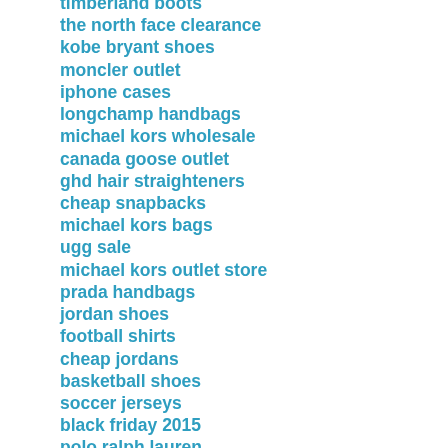timberland boots
the north face clearance
kobe bryant shoes
moncler outlet
iphone cases
longchamp handbags
michael kors wholesale
canada goose outlet
ghd hair straighteners
cheap snapbacks
michael kors bags
ugg sale
michael kors outlet store
prada handbags
jordan shoes
football shirts
cheap jordans
basketball shoes
soccer jerseys
black friday 2015
polo ralph lauren
karen millen dresses
ralph lauren shirts